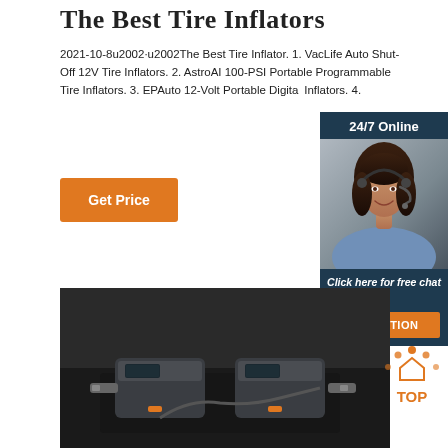The Best Tire Inflators
2021-10-8u2002·u2002The Best Tire Inflator. 1. VacLife Auto Shut-Off 12V Tire Inflators. 2. AstroAI 100-PSI Portable Programmable Tire Inflators. 3. EPAuto 12-Volt Portable Digital Inflators. 4.
Get Price
[Figure (photo): Customer service agent photo with 24/7 Online banner, Click here for free chat text, and QUOTATION orange button on dark blue background panel]
[Figure (photo): Tire inflator devices on dark background]
[Figure (other): TOP button with orange dots arc above text]